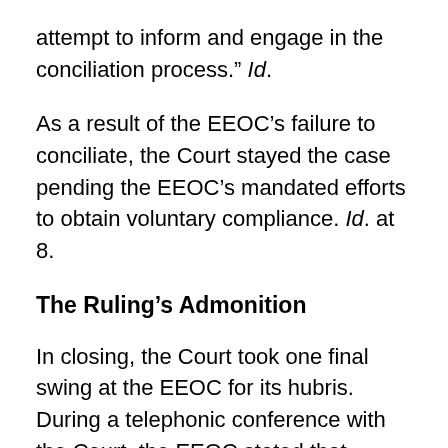attempt to inform and engage in the conciliation process." Id.
As a result of the EEOC’s failure to conciliate, the Court stayed the case pending the EEOC’s mandated efforts to obtain voluntary compliance. Id. at 8.
The Ruling’s Admonition
In closing, the Court took one final swing at the EEOC for its hubris. During a telephonic conference with the Court, the EEOC stated that because it had already filed a complaint, “only a public resolution would be possible,” or, “in other words…the EEOC simply would not reach a private resolution via conciliation. Id. at 8-9. In response to this position,